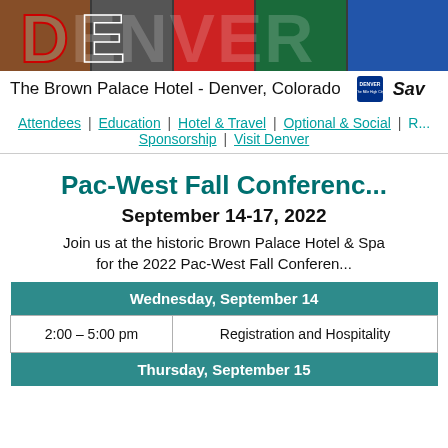[Figure (photo): Denver city banner with photos of buildings, transit, murals, and 'DENVER' text overlay. Shows 'The Brown Palace Hotel - Denver, Colorado' text, Denver logo, and 'Sav' text.]
Attendees | Education | Hotel & Travel | Optional & Social | R... Sponsorship | Visit Denver
Pac-West Fall Conferenc...
September 14-17, 2022
Join us at the historic Brown Palace Hotel & Spa for the 2022 Pac-West Fall Conferen...
| Wednesday, September 14 |
| --- |
| 2:00 – 5:00 pm | Registration and Hospitality |
| Thursday, September 15 |  |